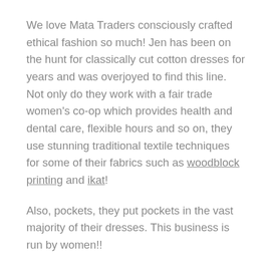We love Mata Traders consciously crafted ethical fashion so much! Jen has been on the hunt for classically cut cotton dresses for years and was overjoyed to find this line. Not only do they work with a fair trade women's co-op which provides health and dental care, flexible hours and so on, they use stunning traditional textile techniques for some of their fabrics such as woodblock printing and ikat!
Also, pockets, they put pockets in the vast majority of their dresses. This business is run by women!!
Size Guide
XS - Bust 31-32" / Waist 25-26" / Hips 35-36"